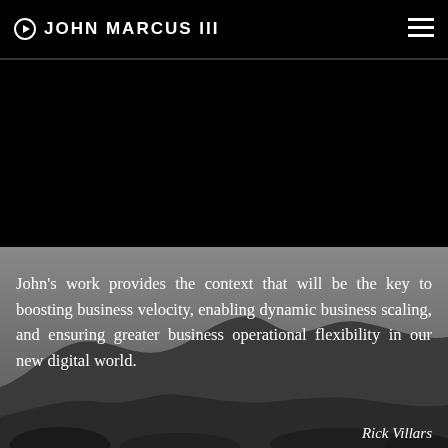JOHN MARCUS III
[Figure (photo): Dark rocky terrain landscape used as background image behind quote text]
John's work provides the context that will be the key to boosting business velocity, enabling dynamic business scaling, and ensuring greater business operational flexibility in our new digital world.
Rick Villars